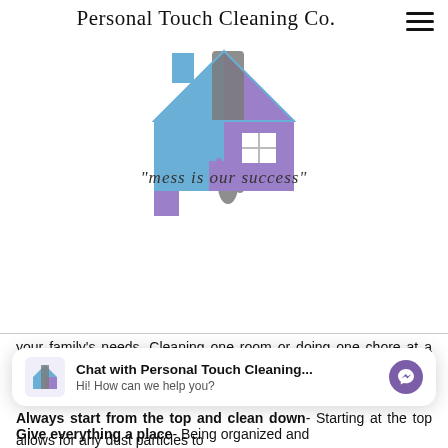[Figure (logo): Personal Touch Cleaning Co. logo with a house icon in blue, purple, and gray colors, with the tagline 'mess is our success' below]
your family's needs. Cleaning one room or doing one chore at a time is much easier for those people that despise cleaning the house.
Always start from the top and clean down- Starting at the top allows for any dust particles to
[Figure (screenshot): Chat widget: 'Chat with Personal Touch Cleaning... Hi! How can we help you?' with Messenger icon]
Give everything a place- Being organized and